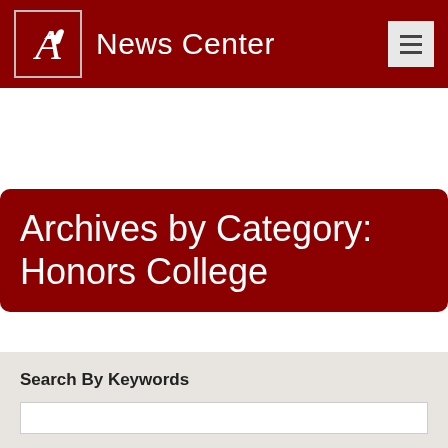News Center
Archives by Category: Honors College
Search By Keywords